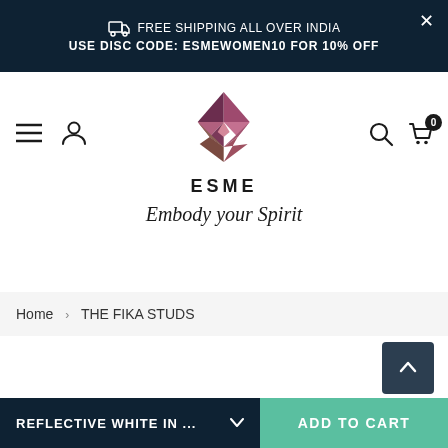FREE SHIPPING ALL OVER INDIA | USE DISC CODE: ESMEWOMEN10 FOR 10% OFF
[Figure (logo): ESME brand logo with geometric diamond/gem shape in burgundy, pink, and brown tones. Logo text reads ESME with tagline Embody your Spirit.]
Home › THE FIKA STUDS
REFLECTIVE WHITE IN ...
ADD TO CART